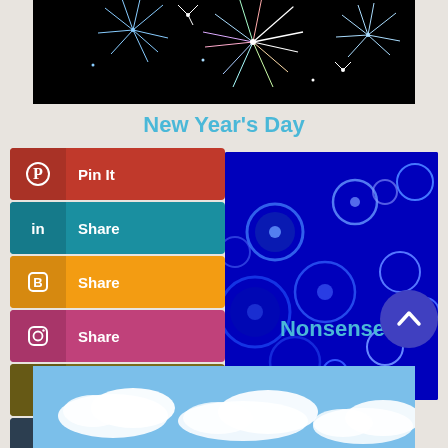[Figure (photo): Fireworks on black background]
New Year’s Day
[Figure (infographic): Social media sharing buttons: Pinterest Pin It, LinkedIn Share, Blogger Share, Instagram Share, Goodreads, Tumblr, More]
[Figure (photo): Blue glowing bubbles/circles on dark blue background]
Nonsense
[Figure (illustration): Blue circular scroll-to-top button with upward chevron]
[Figure (photo): Blue sky with white clouds]